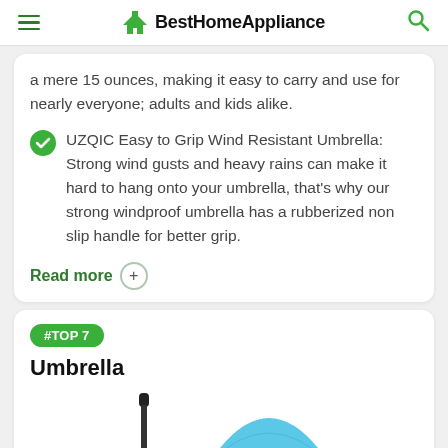BestHomeAppliance
a mere 15 ounces, making it easy to carry and use for nearly everyone; adults and kids alike.
UZQIC Easy to Grip Wind Resistant Umbrella: Strong wind gusts and heavy rains can make it hard to hang onto your umbrella, that's why our strong windproof umbrella has a rubberized non slip handle for better grip.
Read more +
#TOP 7
Umbrella
[Figure (photo): Product photos of an umbrella — one closed dark handle visible and one open blue umbrella canopy visible from side/below]